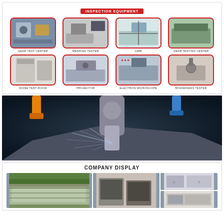INSPECTION EQUIPMENT
[Figure (photo): Grid of 8 inspection equipment photos: Gear Test Center, Meshing Tester, CMM, Gear Testing Center, Noise Test Room, Projector, Electron Microscope, Roundness Tester]
[Figure (photo): Large photo of CNC machining center with coolant spray on metal workpiece]
COMPANY DISPLAY
[Figure (photo): Company display photos showing factory exterior, manufacturing floor with large CNC machines, and laboratory/office areas]